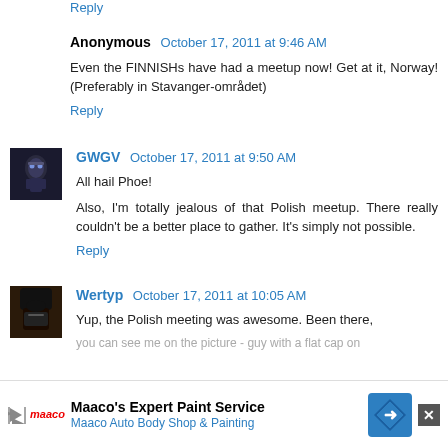Reply
Anonymous October 17, 2011 at 9:46 AM
Even the FINNISHs have had a meetup now! Get at it, Norway! (Preferably in Stavanger-området)
Reply
[Figure (photo): Avatar image for GWGV commenter showing a dark robotic/armored figure]
GWGV October 17, 2011 at 9:50 AM
All hail Phoe!

Also, I'm totally jealous of that Polish meetup. There really couldn't be a better place to gather. It's simply not possible.
Reply
[Figure (photo): Avatar image for Wertyp commenter showing a person in black with face covered]
Wertyp October 17, 2011 at 10:05 AM
Yup, the Polish meeting was awesome. Been there, you can see me on the picture - guy with a flat cap on... were... ply the coolest people in the whole friggin' world. Proud to be
[Figure (screenshot): Advertisement banner for Maaco's Expert Paint Service - Maaco Auto Body Shop & Painting with close button]